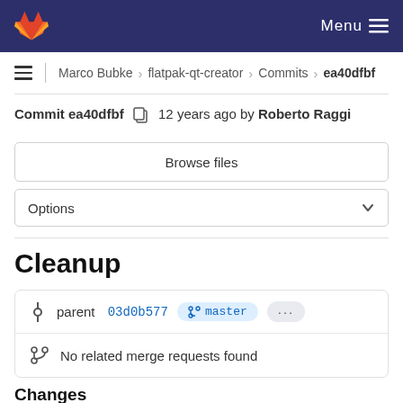GitLab — Menu
Marco Bubke › flatpak-qt-creator › Commits › ea40dfbf
Commit ea40dfbf  12 years ago by Roberto Raggi
Browse files
Options
Cleanup
parent 03d0b577  master  ...
No related merge requests found
Changes